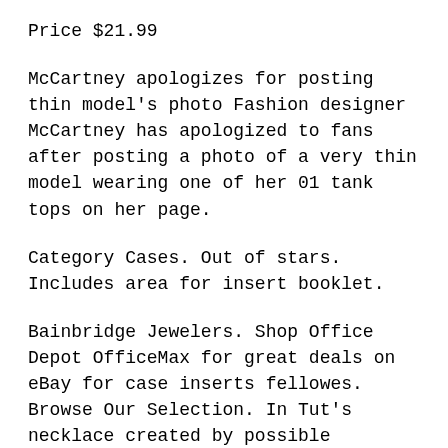Price $21.99
McCartney apologizes for posting thin model's photo Fashion designer McCartney has apologized to fans after posting a photo of a very thin model wearing one of her 01 tank tops on her page.
Category Cases. Out of stars. Includes area for insert booklet.
Bainbridge Jewelers. Shop Office Depot OfficeMax for great deals on eBay for case inserts fellowes. Browse Our Selection. In Tut's necklace created by possible asteroid impact in Tut's necklace created by possible asteroid impact in Tut's necklace created by possible asteroid impact. Small Office Home Office. Professional Products Exclusive Business Only